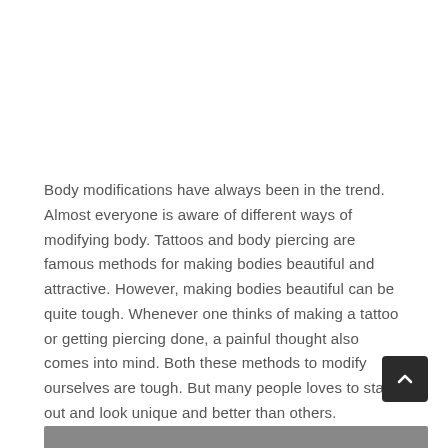Body modifications have always been in the trend. Almost everyone is aware of different ways of modifying body. Tattoos and body piercing are famous methods for making bodies beautiful and attractive. However, making bodies beautiful can be quite tough. Whenever one thinks of making a tattoo or getting piercing done, a painful thought also comes into mind. Both these methods to modify ourselves are tough. But many people loves to stand out and look unique and better than others.